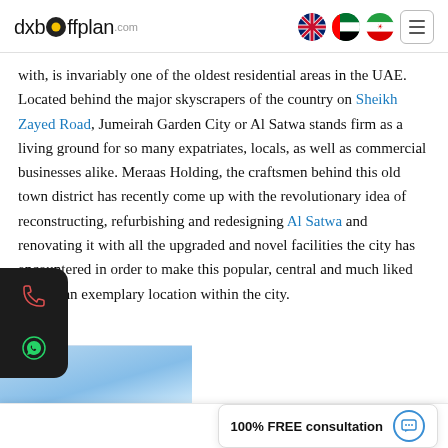dxboffplan.com
with, is invariably one of the oldest residential areas in the UAE. Located behind the major skyscrapers of the country on Sheikh Zayed Road, Jumeirah Garden City or Al Satwa stands firm as a living ground for so many expatriates, locals, as well as commercial businesses alike. Meraas Holding, the craftsmen behind this old town district has recently come up with the revolutionary idea of reconstructing, refurbishing and redesigning Al Satwa and renovating it with all the upgraded and novel facilities the city has encountered in order to make this popular, central and much liked district an exemplary location within the city.
100% FREE consultation